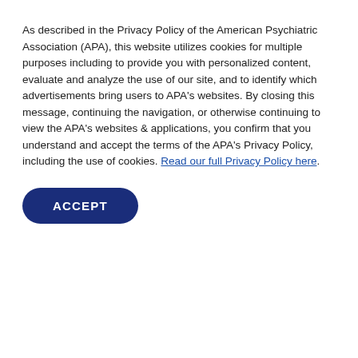cases for other kinds of family support services.
Utilization Profile for an "Average" Company with 1,000 Employees and External EAP Vendor
As described in the Privacy Policy of the American Psychiatric Association (APA), this website utilizes cookies for multiple purposes including to provide you with personalized content, evaluate and analyze the use of our site, and to identify which advertisements bring users to APA's websites. By closing this message, continuing the navigation, or otherwise continuing to view the APA's websites & applications, you confirm that you understand and accept the terms of the APA's Privacy Policy, including the use of cookies. Read our full Privacy Policy here.
ACCEPT